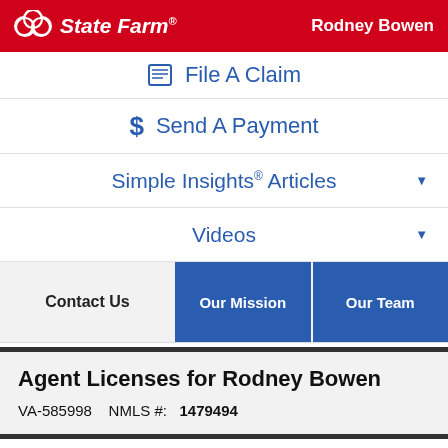State Farm — Rodney Bowen
File A Claim
Send A Payment
Simple Insights® Articles
Videos
Contact Us | Our Mission | Our Team
Agent Licenses for Rodney Bowen
VA-585998   NMLS #:   1479494